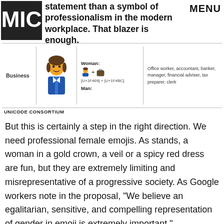statement than a symbol of professionalism in the modern workplace. That blazer is enough.
[Figure (infographic): Unicode Consortium emoji table showing 'Business' category with a woman in business attire emoji, formula [U+1F469] + [U+1F4BC], and description: Office worker, accountant, banker, manager, financial adviser, tax preparer, clerk]
UNICODE CONSORTIUM
But this is certainly a step in the right direction. We need professional female emojis. As stands, a woman in a gold crown, a veil or a spicy red dress are fun, but they are extremely limiting and misrepresentative of a progressive society. As Google workers note in the proposal, "We believe an egalitarian, sensitive, and compelling representation of gender in emoji is extremely important."